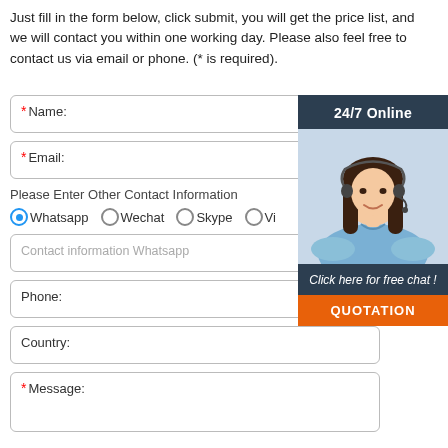Just fill in the form below, click submit, you will get the price list, and we will contact you within one working day. Please also feel free to contact us via email or phone. (* is required).
[Figure (infographic): 24/7 Online support widget showing a woman with a headset, with 'Click here for free chat!' text and an orange QUOTATION button]
*Name:
*Email:
Please Enter Other Contact Information
Whatsapp  Wechat  Skype  Vi...
Contact information Whatsapp
Phone:
Country:
*Message: